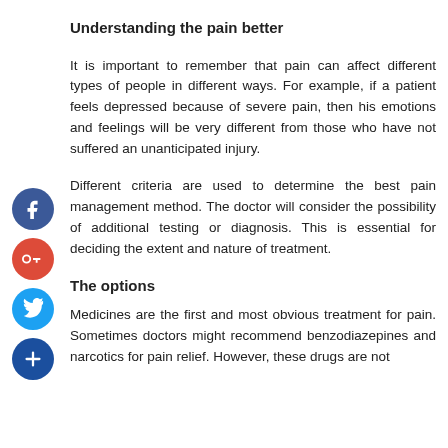Understanding the pain better
It is important to remember that pain can affect different types of people in different ways. For example, if a patient feels depressed because of severe pain, then his emotions and feelings will be very different from those who have not suffered an unanticipated injury.
Different criteria are used to determine the best pain management method. The doctor will consider the possibility of additional testing or diagnosis. This is essential for deciding the extent and nature of treatment.
The options
Medicines are the first and most obvious treatment for pain. Sometimes doctors might recommend benzodiazepines and narcotics for pain relief. However, these drugs are not